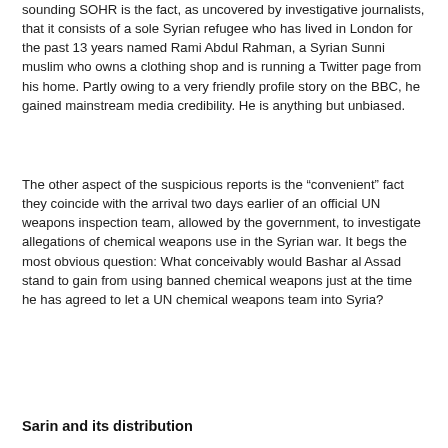sounding SOHR is the fact, as uncovered by investigative journalists, that it consists of a sole Syrian refugee who has lived in London for the past 13 years named Rami Abdul Rahman, a Syrian Sunni muslim who owns a clothing shop and is running a Twitter page from his home. Partly owing to a very friendly profile story on the BBC, he gained mainstream media credibility. He is anything but unbiased.
The other aspect of the suspicious reports is the “convenient” fact they coincide with the arrival two days earlier of an official UN weapons inspection team, allowed by the government, to investigate allegations of chemical weapons use in the Syrian war. It begs the most obvious question: What conceivably would Bashar al Assad stand to gain from using banned chemical weapons just at the time he has agreed to let a UN chemical weapons team into Syria?
Sarin and its distribution